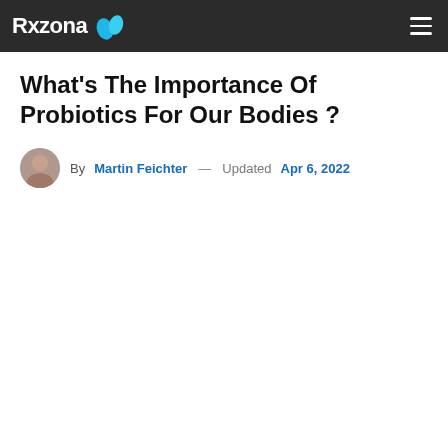Rxzona
What’s The Importance Of Probiotics For Our Bodies ?
By Martin Feichter — Updated Apr 6, 2022